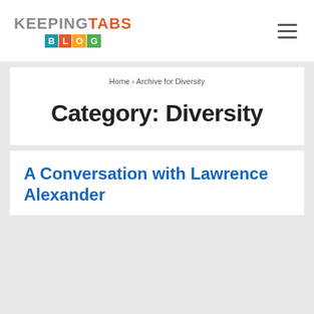[Figure (logo): Keeping Tabs Blog logo: KEEPING in grey, TABS in orange-red, BLOG letters in colored boxes (blue, orange, yellow, green)]
Home › Archive for Diversity
Category: Diversity
A Conversation with Lawrence Alexander